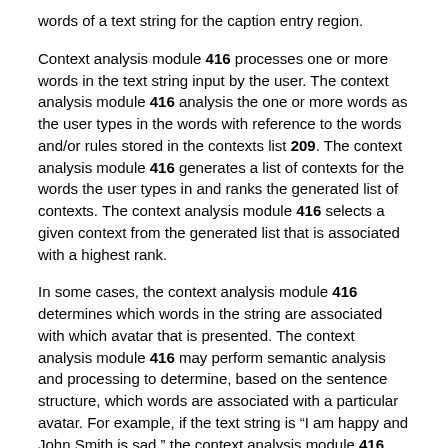words of a text string for the caption entry region.
Context analysis module 416 processes one or more words in the text string input by the user. The context analysis module 416 analysis the one or more words as the user types in the words with reference to the words and/or rules stored in the contexts list 209. The context analysis module 416 generates a list of contexts for the words the user types in and ranks the generated list of contexts. The context analysis module 416 selects a given context from the generated list that is associated with a highest rank.
In some cases, the context analysis module 416 determines which words in the string are associated with which avatar that is presented. The context analysis module 416 may perform semantic analysis and processing to determine, based on the sentence structure, which words are associated with a particular avatar. For example, if the text string is "I am happy and John Smith is sad," the context analysis module 416 determines that happy is associated with the user who is typing in the expression and that sad is associated with the avatar for